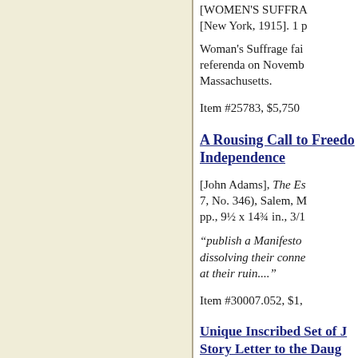[WOMEN'S SUFFRA... [New York, 1915]. 1 p...
Woman's Suffrage fai... referenda on Novemb... Massachusetts.
Item #25783, $5,750
A Rousing Call to Freedo... Independence
[John Adams], The Es... 7, No. 346), Salem, M... pp., 9½ x 14¾ in., 3/1...
“publish a Manifesto... dissolving their conne... at their ruin....”
Item #30007.052, $1,...
Unique Inscribed Set of J... Story Letter to the Daug... Livingston, Conveying M...